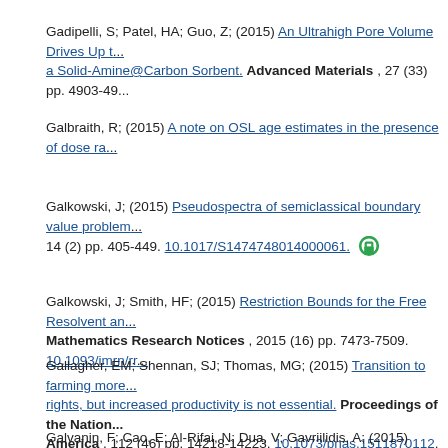Gadipelli, S; Patel, HA; Guo, Z; (2015) An Ultrahigh Pore Volume Drives Up the Amine Stability and Cyclic CO2 Capacity of a Solid-Amine@Carbon Sorbent. Advanced Materials , 27 (33) pp. 4903-4909.
Galbraith, R; (2015) A note on OSL age estimates in the presence of dose rate heterogeneity.
Galkowski, J; (2015) Pseudospectra of semiclassical boundary value problems. Journal of the Institute of Mathematics of Jussieu , 14 (2) pp. 405-449. 10.1017/S1474748014000061.
Galkowski, J; Smith, HF; (2015) Restriction Bounds for the Free Resolvent and Resonances in Lossy Scattering. International Mathematics Research Notices , 2015 (16) pp. 7473-7509. 10.1093/imrn/rnu179.
Gallagher, EM; Shennan, SJ; Thomas, MG; (2015) Transition to farming more likely for Central European than for British Cro-Magnon, if population size is what matters but farmers accrued social rights, but increased productivity is not essential. Proceedings of the National Academy of Sciences of the United States of America , 112 (46) pp. 14218-14223. 10.1073/pnas.1511870112.
Galvanin, F; Cao, E; Al-Rifai, N; Dua, V; Gavriilidis, A; (2015) Optimal design...